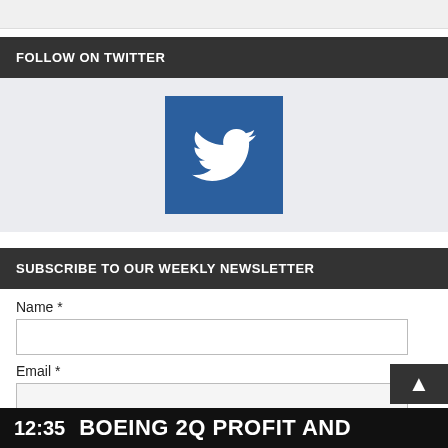FOLLOW ON TWITTER
[Figure (logo): Twitter blue square icon button with white Twitter bird logo]
SUBSCRIBE TO OUR WEEKLY NEWSLETTER
Name *
Email *
SUBMIT
12:35  BOEING 2Q PROFIT AND